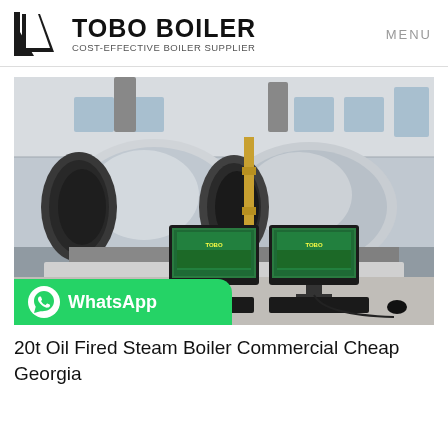TOBO BOILER — COST-EFFECTIVE BOILER SUPPLIER | MENU
[Figure (photo): Industrial boiler manufacturing facility showing two large cylindrical oil-fired steam boilers in a factory hall, with two computer workstations/monitors in the foreground displaying green screens, keyboards, and cables on white desks.]
20t Oil Fired Steam Boiler Commercial Cheap Georgia